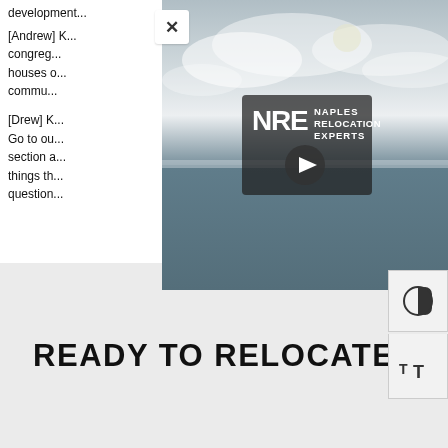development...
[Andrew] congregation... houses of... community...
[Drew] K... Go to ou... section a... things th... questions...
[Figure (screenshot): Video player overlay showing aerial view of water/ocean with cloudy sky. Center shows Naples Relocation Experts (NRE) logo with play button. A white X close button appears top-left of the video.]
[Figure (other): Accessibility contrast toggle button (half-circle icon)]
[Figure (other): Accessibility text size toggle button (tT icon)]
READY TO RELOCATE?